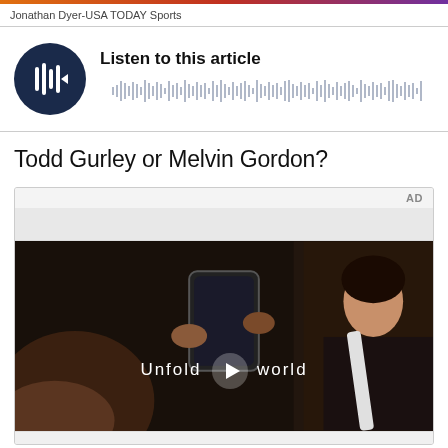Jonathan Dyer-USA TODAY Sports
[Figure (other): Audio player widget with dark circular play button and waveform visualization, labeled 'Listen to this article']
Todd Gurley or Melvin Gordon?
[Figure (other): Advertisement video player showing a Samsung Galaxy phone in a car scene with the text 'Unfold world' and a play button overlay. AD label in upper right.]